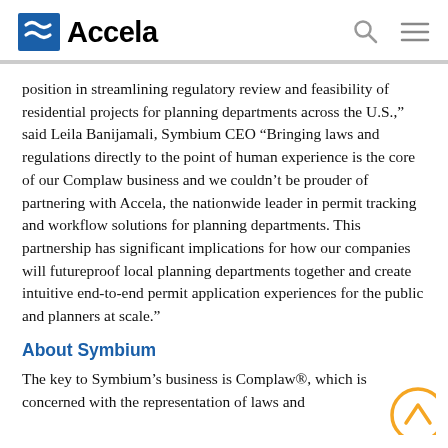Accela
position in streamlining regulatory review and feasibility of residential projects for planning departments across the U.S.," said Leila Banijamali, Symbium CEO "Bringing laws and regulations directly to the point of human experience is the core of our Complaw business and we couldn’t be prouder of partnering with Accela, the nationwide leader in permit tracking and workflow solutions for planning departments. This partnership has significant implications for how our companies will futureproof local planning departments together and create intuitive end-to-end permit application experiences for the public and planners at scale."
About Symbium
The key to Symbium’s business is Complaw®, which is concerned with the representation of laws and